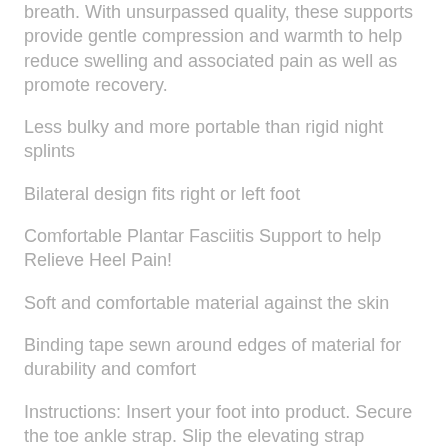breath. With unsurpassed quality, these supports provide gentle compression and warmth to help reduce swelling and associated pain as well as promote recovery.
Less bulky and more portable than rigid night splints
Bilateral design fits right or left foot
Comfortable Plantar Fasciitis Support to help Relieve Heel Pain!
Soft and comfortable material against the skin
Binding tape sewn around edges of material for durability and comfort
Instructions: Insert your foot into product. Secure the toe ankle strap. Slip the elevating strap through